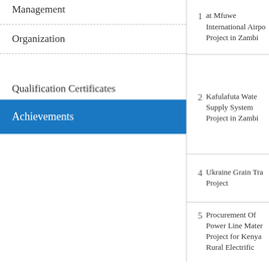| Category | # | Project |
| --- | --- | --- |
| Management | 1 | at Mfuwe International Airport Project in Zambia |
| Organization |  |  |
| Qualification Certificates | 2 | Kafulafuta Water Supply System Project in Zambia |
| Achievements |  |  |
| Subsidiary | 3 | Chinsali General Hospital and Annex Works in Zambia |
|  | 4 | Ukraine Grain Transportation Project |
|  | 5 | Procurement Of Power Line Materials Project for Kenya Rural Electrification |